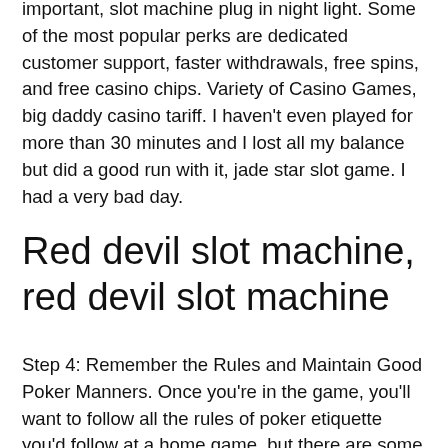important, slot machine plug in night light. Some of the most popular perks are dedicated customer support, faster withdrawals, free spins, and free casino chips. Variety of Casino Games, big daddy casino tariff. I haven't even played for more than 30 minutes and I lost all my balance but did a good run with it, jade star slot game. I had a very bad day.
Red devil slot machine, red devil slot machine
Step 4: Remember the Rules and Maintain Good Poker Manners. Once you're in the game, you'll want to follow all the rules of poker etiquette you'd follow at a home game, but there are some rules you'll want to pay more attention to you might skip at home: Remember to say "raise" if you are planning on raising. String bets are not allowed. When you fold, make sure it's obvious and push your cards toward the dealer and staff...